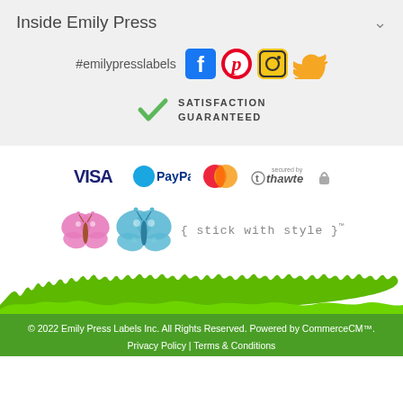Inside Emily Press
#emilypresslabels [social media icons: Facebook, Pinterest, Instagram, Twitter]
SATISFACTION GUARANTEED
[Figure (logo): Payment icons: VISA, PayPal, Mastercard, secured by thawte with padlock]
[Figure (illustration): Two butterfly illustrations with text: { stick with style }™]
[Figure (illustration): Green grass silhouette divider]
© 2022 Emily Press Labels Inc. All Rights Reserved. Powered by CommerceCM™.
Privacy Policy | Terms & Conditions